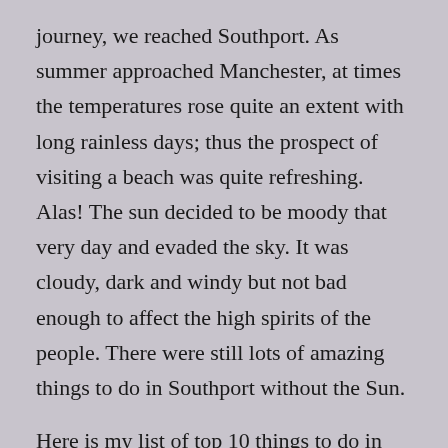journey, we reached Southport. As summer approached Manchester, at times the temperatures rose quite an extent with long rainless days; thus the prospect of visiting a beach was quite refreshing. Alas! The sun decided to be moody that very day and evaded the sky. It was cloudy, dark and windy but not bad enough to affect the high spirits of the people. There were still lots of amazing things to do in Southport without the Sun.
Here is my list of top 10 things to do in Southport (with or without Mr [Read Moody 😜 ] Sun )
Visit Model Railway Village and Adjoining Parks